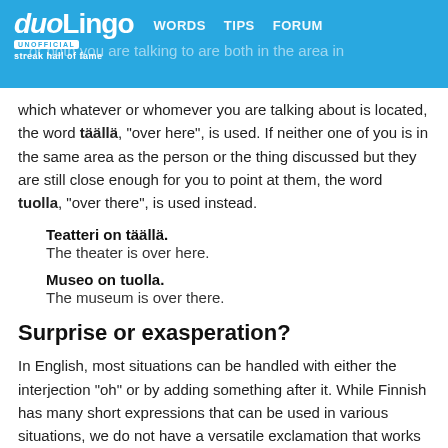duoLingo UNOFFICIAL streak hall of fame | WORDS | TIPS | FORUM
which whatever or whomever you are talking about is located, the word täällä, "over here", is used. If neither one of you is in the same area as the person or the thing discussed but they are still close enough for you to point at them, the word tuolla, "over there", is used instead.
Teatteri on täällä.
The theater is over here.
Museo on tuolla.
The museum is over there.
Surprise or exasperation?
In English, most situations can be handled with either the interjection "oh" or by adding something after it. While Finnish has many short expressions that can be used in various situations, we do not have a versatile exclamation that works exactly in the same way as "oh". If something upsetting happens to you, voi ei is a good way to express